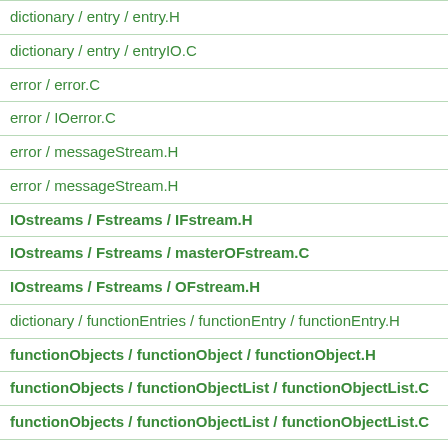| dictionary / entry / entry.H |
| dictionary / entry / entryIO.C |
| error / error.C |
| error / IOerror.C |
| error / messageStream.H |
| error / messageStream.H |
| IOstreams / Fstreams / IFstream.H |
| IOstreams / Fstreams / masterOFstream.C |
| IOstreams / Fstreams / OFstream.H |
| dictionary / functionEntries / functionEntry / functionEntry.H |
| functionObjects / functionObject / functionObject.H |
| functionObjects / functionObjectList / functionObjectList.C |
| functionObjects / functionObjectList / functionObjectList.C |
| functionObjects / functionObjectList / functionObjectList.H |